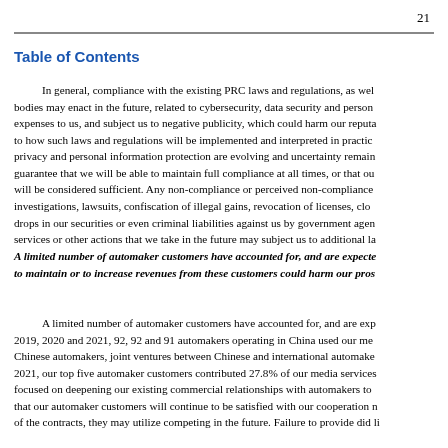21
Table of Contents
In general, compliance with the existing PRC laws and regulations, as well as those that regulatory bodies may enact in the future, related to cybersecurity, data security and personal information may cause expenses to us, and subject us to negative publicity, which could harm our reputation. There is uncertainty as to how such laws and regulations will be implemented and interpreted in practice. PRC laws and regulations on privacy and personal information protection are evolving and uncertainty remains. As a result, we cannot guarantee that we will be able to maintain full compliance at all times, or that our compliance measures will be considered sufficient. Any non-compliance or perceived non-compliance with applicable laws could result in investigations, lawsuits, confiscation of illegal gains, revocation of licenses, closures of relevant business, drops in our securities or even criminal liabilities against us by government agencies. Changes in our products, services or other actions that we take in the future may subject us to additional legal and regulatory issues.
A limited number of automaker customers have accounted for, and are expected to continue to account for, a significant portion of our revenues, and our failure to maintain or to increase revenues from these customers could harm our prospects.
A limited number of automaker customers have accounted for, and are expected to continue to account for. In 2019, 2020 and 2021, 92, 92 and 91 automakers operating in China used our media services, including Chinese automakers, joint ventures between Chinese and international automakers. In the year ended December 31, 2021, our top five automaker customers contributed 27.8% of our media services revenues. We have focused on deepening our existing commercial relationships with automakers to generate repeat business. We believe that our automaker customers will continue to be satisfied with our cooperation may lead to a scaling back of the contracts, they may utilize competing in the future. Failure to provide did li...